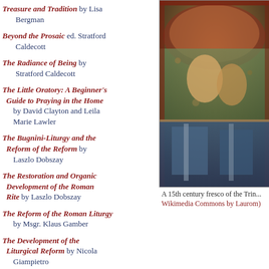Treasure and Tradition by Lisa Bergman
Beyond the Prosaic ed. Stratford Caldecott
The Radiance of Being by Stratford Caldecott
The Little Oratory: A Beginner's Guide to Praying in the Home by David Clayton and Leila Marie Lawler
The Bugnini-Liturgy and the Reform of the Reform by Laszlo Dobszay
The Restoration and Organic Development of the Roman Rite by Laszlo Dobszay
The Reform of the Roman Liturgy by Msgr. Klaus Gamber
The Development of the Liturgical Reform by Nicola Giampietro
[Figure (photo): A 15th century fresco of the Trinity, from Wikimedia Commons by Laurom]
A 15th century fresco of the Trin... Wikimedia Commons by Laurom)